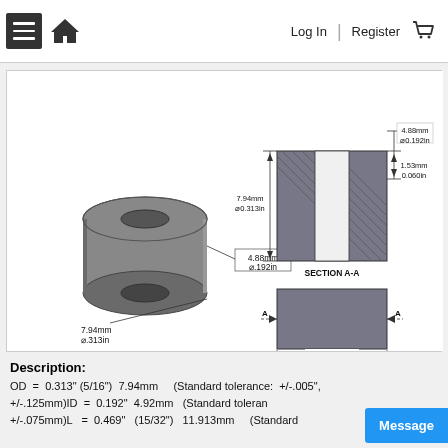Log In  |  Register
[Figure (engineering-diagram): Technical drawing of a cylindrical spacer/bushing. Left: 3D perspective view showing OD=7.94mm/0.313in and ID=4.88mm/0.192in. Right top: Section A-A view showing cross-section with OD=7.94mm/0.313in, wall thickness=1.53mm/0.060in, and inner diameter=4.88mm/0.192in. Right bottom: Top/end view showing length=11.91mm/0.469in with section cut indicators A-A.]
Description:
OD  =  0.313" (5/16")  7.94mm    (Standard tolerance:  +/-.005", +/-.125mm)ID  =  0.192"  4.92mm   (Standard toleranc... +/-.075mm)L   =  0.469"  (15/32")  11.913mm     (Standard